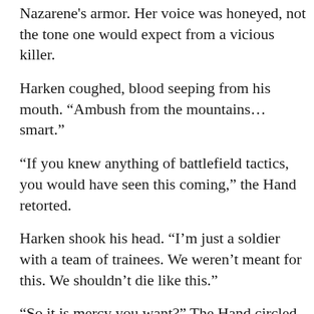Nazarene's armor. Her voice was honeyed, not the tone one would expect from a vicious killer.
Harken coughed, blood seeping from his mouth. “Ambush from the mountains… smart.”
“If you knew anything of battlefield tactics, you would have seen this coming,” the Hand retorted.
Harken shook his head. “I’m just a soldier with a team of trainees. We weren’t meant for this. We shouldn’t die like this.”
“So it is mercy you want?” The Hand circled Harken for a moment, prodding the body that covered Lancaster with her foot.
Lancaster held his breath, eyes squeezed shut as his heart raced.
“I was made for this. We’re just accessories.” Har—